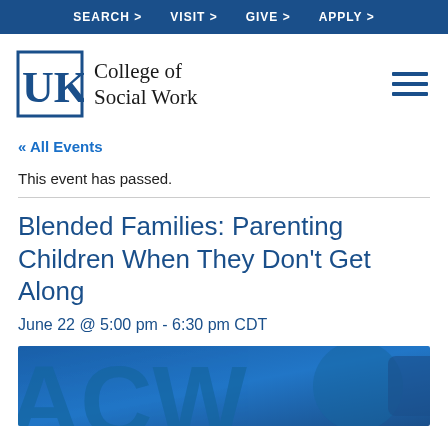SEARCH > VISIT > GIVE > APPLY >
[Figure (logo): University of Kentucky College of Social Work logo with UK interlocking letters and hamburger menu icon]
« All Events
This event has passed.
Blended Families: Parenting Children When They Don't Get Along
June 22 @ 5:00 pm - 6:30 pm CDT
[Figure (illustration): Blue decorative banner image with large stylized letters/shapes in darker blue tones]